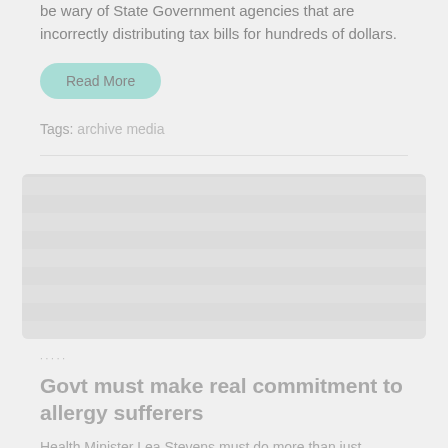be wary of State Government agencies that are incorrectly distributing tax bills for hundreds of dollars.
Read More
Tags: archive media
[Figure (photo): Blurred/faded image placeholder in light gray]
Govt must make real commitment to allergy sufferers
Health Minister Lea Stevens must do more than just